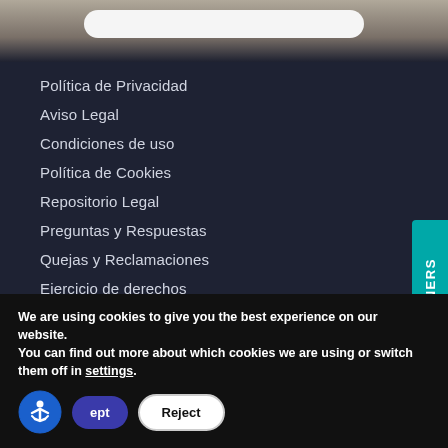[Figure (screenshot): Top photo/header area with search bar]
Política de Privacidad
Aviso Legal
Condiciones de uso
Política de Cookies
Repositorio Legal
Preguntas y Respuestas
Quejas y Reclamaciones
Ejercicio de derechos
Iniciar sesión ANF AC
[Figure (logo): Prestador Cualificado de Servicios de Confianza badge with padlock icon]
We are using cookies to give you the best experience on our website.
You can find out more about which cookies we are using or switch them off in settings.